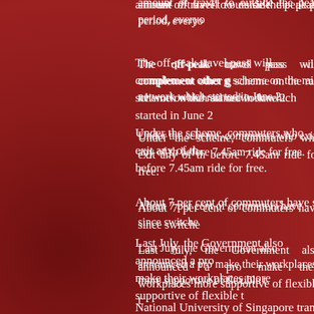amount of travel to outside the peak period, everyo
The off-peak travel pass will complement other g scheme on the rail network which started in June 2
Under the scheme, commuters who exit any of th before 7.45am ride for free.
About 7 per cent of commuters have since switche
Last July, the Government also announced a pro make their workplaces more supportive of flexible t
National University of Singapore transport researc encourage more people to travel during the off-pea
But he added: "I think travelling before 6.30am is r
"If they can shift the peak hour to start at 7am, I'm